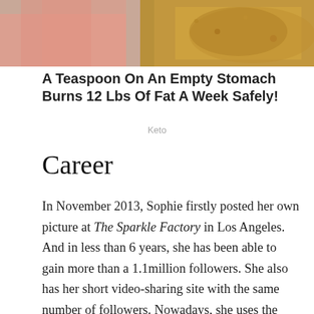[Figure (photo): Advertisement banner image showing a person in a pink top and a bowl of brown food/powder, for a keto diet product.]
A Teaspoon On An Empty Stomach Burns 12 Lbs Of Fat A Week Safely!
Keto
Career
In November 2013, Sophie firstly posted her own picture at The Sparkle Factory in Los Angeles. And in less than 6 years, she has been able to gain more than a 1.1million followers. She also has her short video-sharing site with the same number of followers. Nowadays, she uses the platform as a daily-life feed. She also became one of the popular Instagram stars.